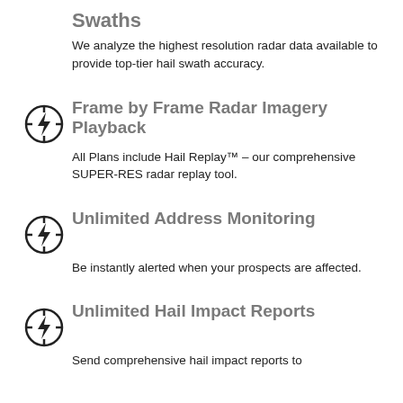Swaths
We analyze the highest resolution radar data available to provide top-tier hail swath accuracy.
Frame by Frame Radar Imagery Playback
All Plans include Hail Replay™ – our comprehensive SUPER-RES radar replay tool.
Unlimited Address Monitoring
Be instantly alerted when your prospects are affected.
Unlimited Hail Impact Reports
Send comprehensive hail impact reports to